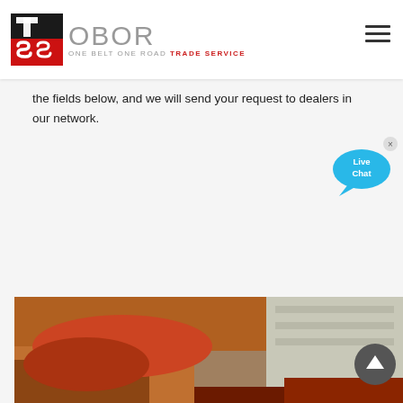[Figure (logo): OBOR Trade Service logo with TS icon and text reading 'OBOR ONE BELT ONE ROAD TRADE SERVICE']
the fields below, and we will send your request to dealers in our network.
Read More
[Figure (illustration): Live Chat bubble icon in blue]
[Figure (photo): Outdoor photo showing soil, red clay terrain, and concrete structure at bottom of page]
[Figure (illustration): Dark circular scroll-to-top button with upward arrow]